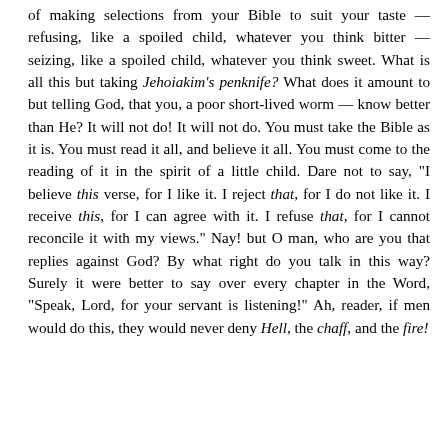of making selections from your Bible to suit your taste — refusing, like a spoiled child, whatever you think bitter — seizing, like a spoiled child, whatever you think sweet. What is all this but taking Jehoiakim's penknife? What does it amount to but telling God, that you, a poor short-lived worm — know better than He? It will not do! It will not do. You must take the Bible as it is. You must read it all, and believe it all. You must come to the reading of it in the spirit of a little child. Dare not to say, "I believe this verse, for I like it. I reject that, for I do not like it. I receive this, for I can agree with it. I refuse that, for I cannot reconcile it with my views." Nay! but O man, who are you that replies against God? By what right do you talk in this way? Surely it were better to say over every chapter in the Word, "Speak, Lord, for your servant is listening!" Ah, reader, if men would do this, they would never deny Hell, the chaff, and the fire!